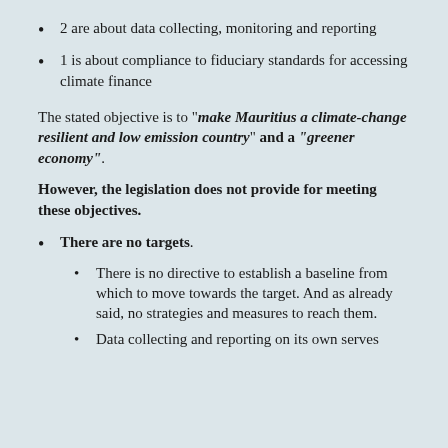2 are about data collecting, monitoring and reporting
1 is about compliance to fiduciary standards for accessing climate finance
The stated objective is to "make Mauritius a climate-change resilient and low emission country" and a "greener economy".
However, the legislation does not provide for meeting these objectives.
There are no targets.
There is no directive to establish a baseline from which to move towards the target. And as already said, no strategies and measures to reach them.
Data collecting and reporting on its own serves